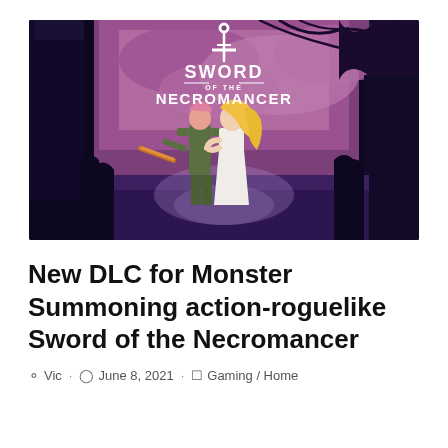[Figure (illustration): Game artwork for Sword of the Necromancer showing two characters (a warrior in green holding a glowing sword and a woman in white dress) embracing in front of a dark fantasy graveyard scene with purple/dark blue sky and trees. The game logo 'SWORD OF THE NECROMANCER' appears in white at the top center of the image.]
New DLC for Monster Summoning action-roguelike Sword of the Necromancer
Vic · June 8, 2021 · Gaming / Home